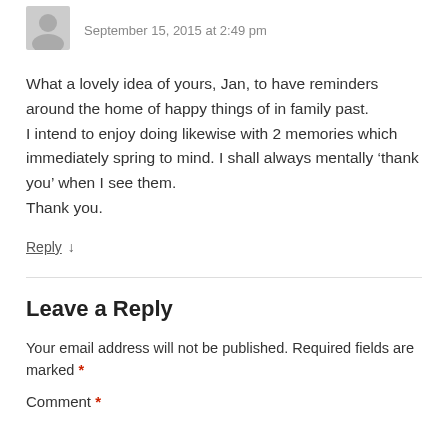September 15, 2015 at 2:49 pm
What a lovely idea of yours, Jan, to have reminders around the home of happy things of in family past.
I intend to enjoy doing likewise with 2 memories which immediately spring to mind. I shall always mentally ‘thank you’ when I see them.
Thank you.
Reply ↓
Leave a Reply
Your email address will not be published. Required fields are marked *
Comment *